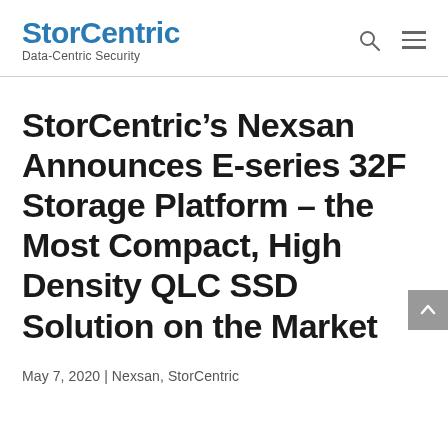StorCentric Data-Centric Security
StorCentric's Nexsan Announces E-series 32F Storage Platform – the Most Compact, High Density QLC SSD Solution on the Market
May 7, 2020 | Nexsan, StorCentric